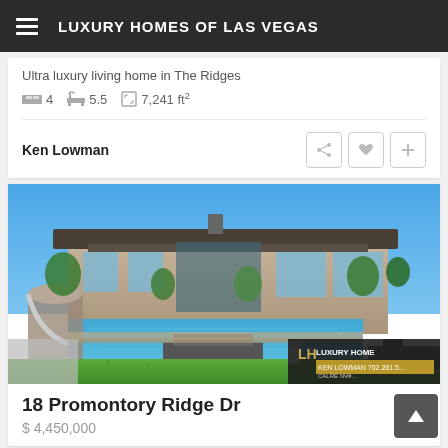LUXURY HOMES OF LAS VEGAS
Ultra luxury living home in The Ridges
4  5.5  7,241 ft²
Ken Lowman
[Figure (photo): Exterior photo of a luxury home with a large pool and manicured lawn at 18 Promontory Ridge Dr. A waterslide and fire features are visible. A 'Luxury Homes' branding watermark appears in the lower right.]
18 Promontory Ridge Dr
$ 4,450,000